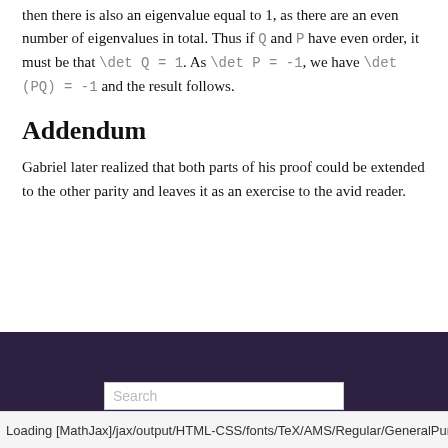then there is also an eigenvalue equal to 1, as there are an even number of eigenvalues in total. Thus if Q and P have even order, it must be that \det Q = 1. As \det P = -1, we have \det (PQ) = -1 and the result follows.
Addendum
Gabriel later realized that both parts of his proof could be extended to the other parity and leaves it as an exercise to the avid reader.
← Eigen-magicks
Loading [MathJax]/jax/output/HTML-CSS/fonts/TeX/AMS/Regular/GeneralPunctuat...